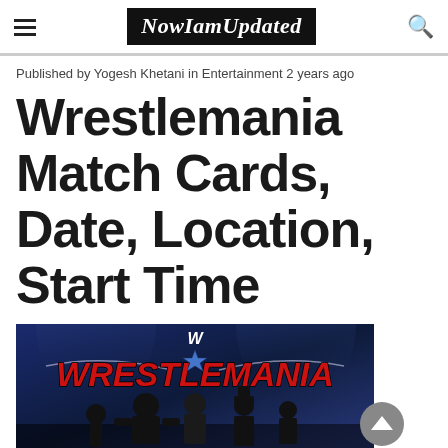NowIamUpdated
Published by Yogesh Khetani in Entertainment 2 years ago
Wrestlemania Match Cards, Date, Location, Start Time
[Figure (photo): WrestleMania promotional image showing the WrestleMania logo in red on a dark blue background with wrestler silhouettes below]